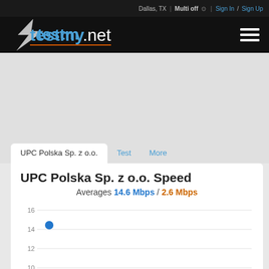Dallas, TX | Multi off | Sign In / Sign Up
[Figure (logo): testmy.net logo with lightning bolt and hamburger menu icon]
UPC Polska Sp. z o.o. | Test | More
UPC Polska Sp. z o.o. Speed
Averages 14.6 Mbps / 2.6 Mbps
[Figure (scatter-plot): Scatter plot showing speed data points. Y-axis from 8 to 16. One visible blue dot at approximately y=14.6.]